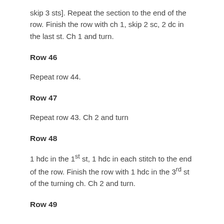skip 3 sts]. Repeat the section to the end of the row. Finish the row with ch 1, skip 2 sc, 2 dc in the last st. Ch 1 and turn.
Row 46
Repeat row 44.
Row 47
Repeat row 43. Ch 2 and turn
Row 48
1 hdc in the 1st st, 1 hdc in each stitch to the end of the row. Finish the row with 1 hdc in the 3rd st of the turning ch. Ch 2 and turn.
Row 49